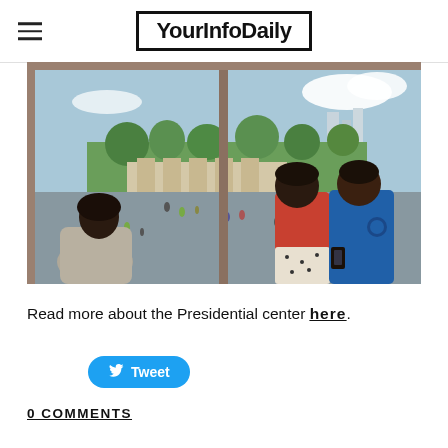YourInfoDaily
[Figure (illustration): Architectural rendering of a presidential center viewed from inside through large windows; two figures in the foreground (woman in gray wrap and man in blue t-shirt) overlook a landscaped plaza with people walking below and green trees in the background.]
Read more about the Presidential center here.
Tweet
0 Comments